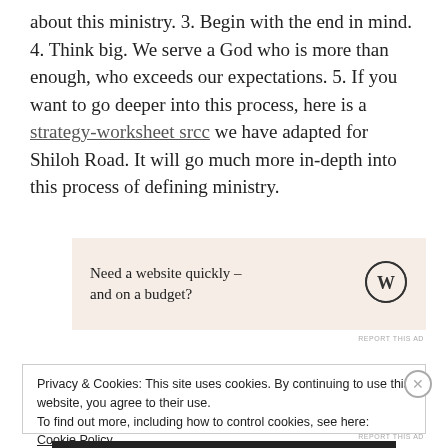about this ministry. 3. Begin with the end in mind. 4. Think big. We serve a God who is more than enough, who exceeds our expectations. 5. If you want to go deeper into this process, here is a strategy-worksheet srcc we have adapted for Shiloh Road. It will go much more in-depth into this process of defining ministry.
[Figure (other): Advertisement box with beige background: 'Need a website quickly – and on a budget?' with WordPress logo]
REPORT THIS AD
Privacy & Cookies: This site uses cookies. By continuing to use this website, you agree to their use.
To find out more, including how to control cookies, see here: Cookie Policy
Close and accept